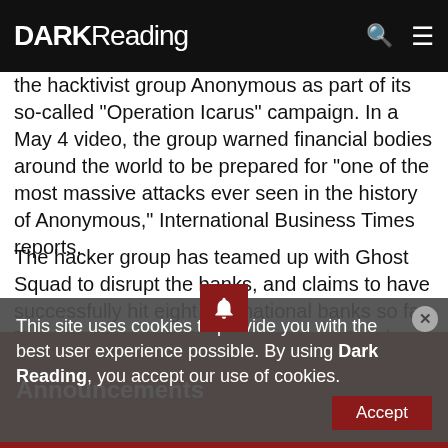DARK Reading
the hacktivist group Anonymous as part of its so-called "Operation Icarus" campaign. In a May 4 video, the group warned financial bodies around the world to be prepared for "one of the most massive attacks ever seen in the history of Anonymous," International Business Times reports.
The hacker group has teamed up with Ghost Squad to disrupt the banks, and claims to have successfully hit eight international banks so far. The intention, says Anonymous, is to "not let the banks win."
Anonymous says the month-long campaign will target 160 banks worldwide and include institutions like the World Bank, IMF, New York Stock Exchange, and Bank of
This site uses cookies to provide you with the best user experience possible. By using Dark Reading, you accept our use of cookies.
Announcements